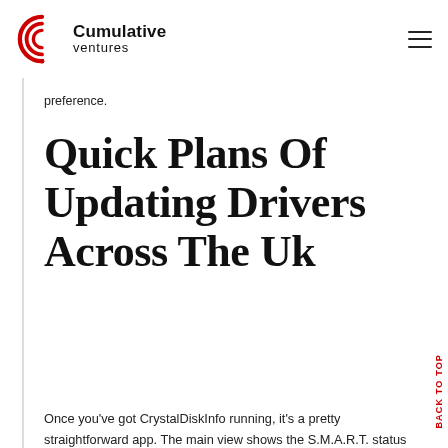[Figure (logo): Cumulative Ventures logo with red concentric arc C symbol and company name]
preference.
Quick Plans Of Updating Drivers Across The Uk
Once you've got CrystalDiskInfo running, it's a pretty straightforward app. The main view shows the S.M.A.R.T. status information for your hard drives. If everything is working properly, you
BACK TO TOP